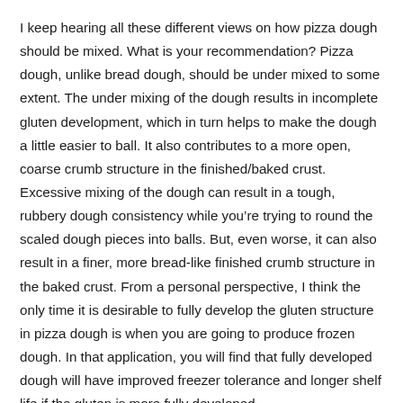I keep hearing all these different views on how pizza dough should be mixed. What is your recommendation? Pizza dough, unlike bread dough, should be under mixed to some extent. The under mixing of the dough results in incomplete gluten development, which in turn helps to make the dough a little easier to ball. It also contributes to a more open, coarse crumb structure in the finished/baked crust. Excessive mixing of the dough can result in a tough, rubbery dough consistency while you're trying to round the scaled dough pieces into balls. But, even worse, it can also result in a finer, more bread-like finished crumb structure in the baked crust. From a personal perspective, I think the only time it is desirable to fully develop the gluten structure in pizza dough is when you are going to produce frozen dough. In that application, you will find that fully developed dough will have improved freezer tolerance and longer shelf life if the gluten is more fully developed.
The best way to ascertain proper dough/gluten development in pizza dough is through visual appearance of the dough during